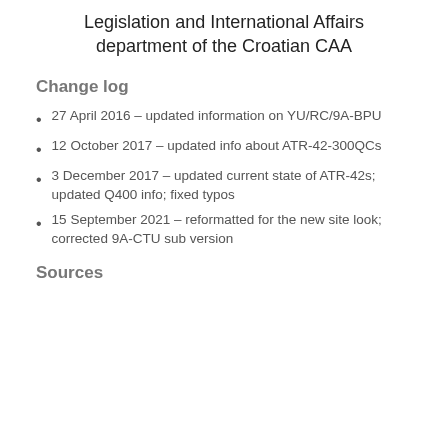Legislation and International Affairs department of the Croatian CAA
Change log
27 April 2016 – updated information on YU/RC/9A-BPU
12 October 2017 – updated info about ATR-42-300QCs
3 December 2017 – updated current state of ATR-42s; updated Q400 info; fixed typos
15 September 2021 – reformatted for the new site look; corrected 9A-CTU sub version
Sources